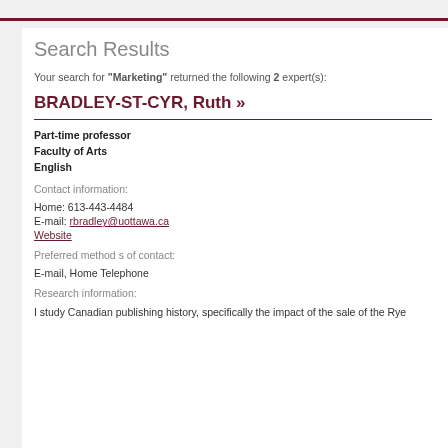Search Results
Your search for "Marketing" returned the following 2 expert(s):
BRADLEY-ST-CYR, Ruth »
Part-time professor
Faculty of Arts
English
Contact information:
Home: 613-443-4484
E-mail: rbradley@uottawa.ca
Website
Preferred method s of contact:
E-mail, Home Telephone
Research information:
I study Canadian publishing history, specifically the impact of the sale of the Rye